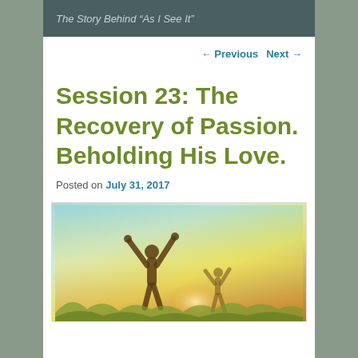The Story Behind “As I See It”
← Previous   Next →
Session 23: The Recovery of Passion. Beholding His Love.
Posted on July 31, 2017
[Figure (photo): Silhouette of a person with arms raised joyfully against a bright warm sky with sunlight and vegetation]